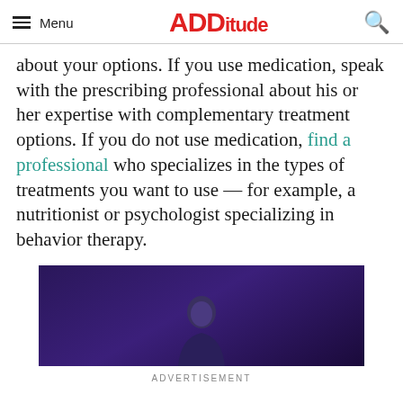Menu | ADDitude
about your options. If you use medication, speak with the prescribing professional about his or her expertise with complementary treatment options. If you do not use medication, find a professional who specializes in the types of treatments you want to use — for example, a nutritionist or psychologist specializing in behavior therapy.
[Figure (photo): A person standing against a dark purple/violet background, appears to be a man wearing glasses, shown from the waist up.]
ADVERTISEMENT